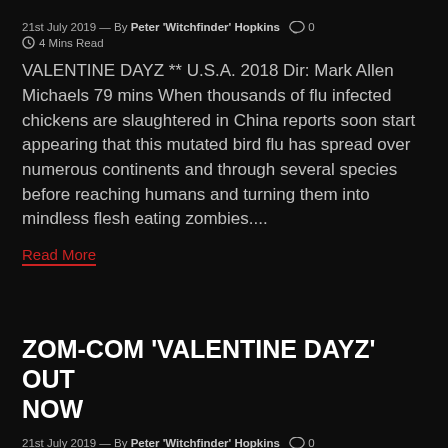21st July 2019 — By Peter 'Witchfinder' Hopkins  🗨 0
⏱ 4 Mins Read
VALENTINE DAYZ ** U.S.A. 2018 Dir: Mark Allen Michaels 79 mins When thousands of flu infected chickens are slaughtered in China reports soon start appearing that this mutated bird flu has spread over numerous continents and through several species before reaching humans and turning them into mindless flesh eating zombies....
Read More
ZOM-COM 'VALENTINE DAYZ' OUT NOW
21st July 2019 — By Peter 'Witchfinder' Hopkins  🗨 0
⏱ 2 Mins Read
Comedy Dynamics & Firebreathing Films have just